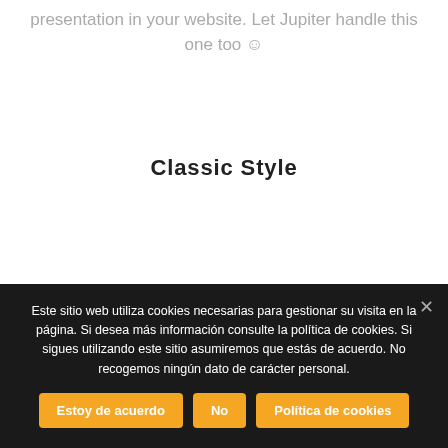presentation in your website. Let Jupiter handle this one too ☺
Classic Style
[Figure (illustration): Dark brown semicircle/dome shape representing a classic style element, partially visible at the bottom of the page]
Este sitio web utiliza cookies necesarias para gestionar su visita en la página. Si desea más información consulte la política de cookies. Si sigues utilizando este sitio asumiremos que estás de acuerdo. No recogemos ningún dato de carácter personal.
Estoy de acuerdo | No | Política de cookies